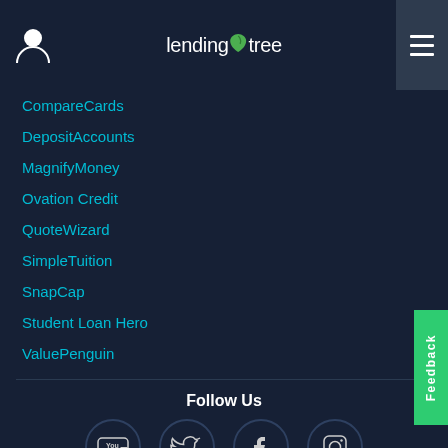LendingTree
CompareCards
DepositAccounts
MagnifyMoney
Ovation Credit
QuoteWizard
SimpleTuition
SnapCap
Student Loan Hero
ValuePenguin
Follow Us
[Figure (other): Social media icons: YouTube, Twitter, Facebook, Instagram in circular outlines]